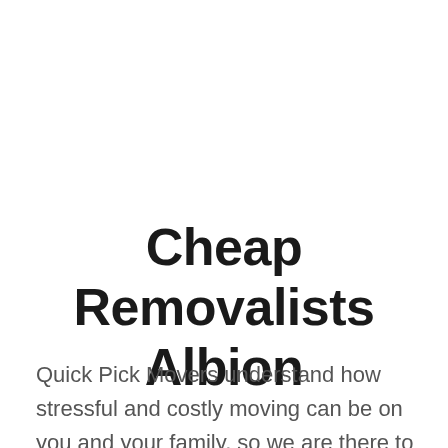Cheap Removalists Albion
Quick Pick Movers understand how stressful and costly moving can be on you and your family, so we are there to make it an affordable and stress free experience.